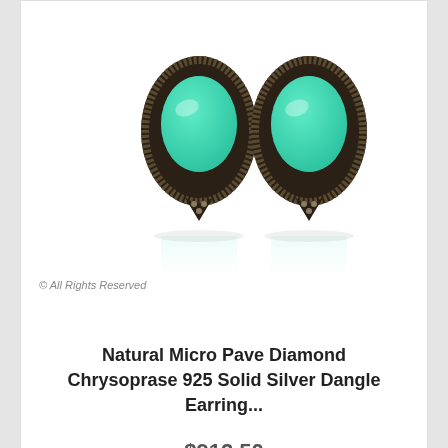[Figure (photo): Product photo of two turquoise chrysoprase oval earrings with dark marcasite pave diamond border setting, shown with reflection below on white background]
© All Rights Reserved
Natural Micro Pave Diamond Chrysoprase 925 Solid Silver Dangle Earring...
$912.50
[Figure (logo): WhatsApp green circle icon with white phone handset]
[Figure (logo): Green circle chat bubble icon (live chat button)]